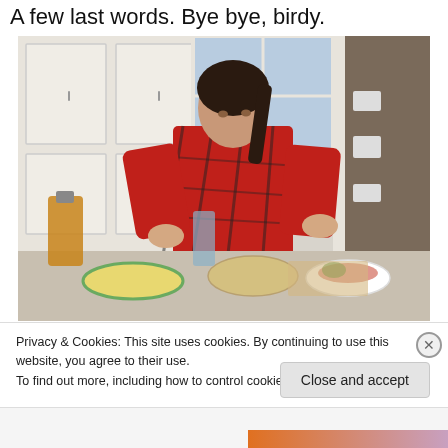A few last words. Bye bye, birdy.
[Figure (photo): A young woman with dark hair in a ponytail, wearing a red plaid flannel shirt, stands at a kitchen counter mixing ingredients in bowls. Various items are on the counter including a jar of liquid, a pie dish, and a bowl of salad. White kitchen cabinets and a door are visible in the background.]
Privacy & Cookies: This site uses cookies. By continuing to use this website, you agree to their use.
To find out more, including how to control cookies, see here: Cookie Policy